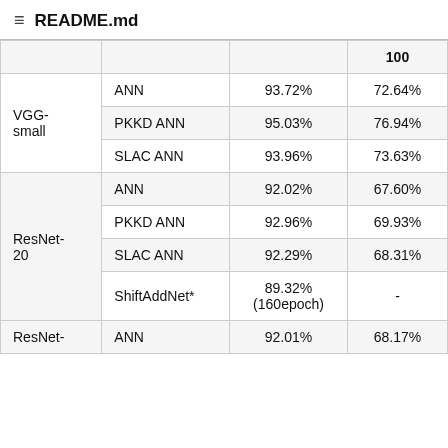README.md
| Model | Method | CIFAR-10 | CIFAR-100 |
| --- | --- | --- | --- |
|  |  |  | 100 |
| VGG-small | ANN | 93.72% | 72.64% |
|  | PKKD ANN | 95.03% | 76.94% |
|  | SLAC ANN | 93.96% | 73.63% |
| ResNet-20 | ANN | 92.02% | 67.60% |
|  | PKKD ANN | 92.96% | 69.93% |
|  | SLAC ANN | 92.29% | 68.31% |
|  | ShiftAddNet* | 89.32% (160epoch) | - |
| ResNet- | ANN | 92.01% | 68.17% |